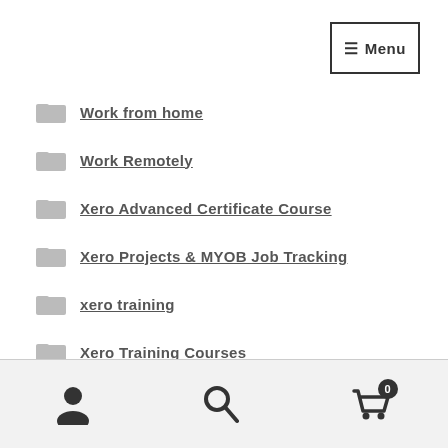Menu
Work from home
Work Remotely
Xero Advanced Certificate Course
Xero Projects & MYOB Job Tracking
xero training
Xero Training Courses
Xero Training Courses Updates
User icon | Search icon | Cart 0